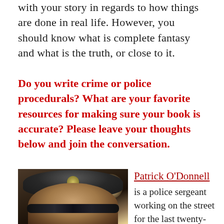with your story in regards to how things are done in real life. However, you should know what is complete fantasy and what is the truth, or close to it.
Do you write crime or police procedurals? What are your favorite resources for making sure your book is accurate? Please leave your thoughts below and join the conversation.
[Figure (photo): Photo of Patrick O'Donnell, a police sergeant wearing a dark police cap with a badge, sunglasses, in a dark setting with a bright light flare behind him.]
Patrick O'Donnell is a police sergeant working on the street for the last twenty-four and a half years for one of America's